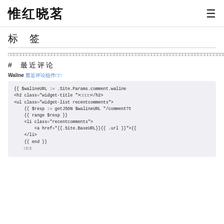惟红晓茗 ☰
标 签
（Chinese characters — tag/category description text spanning the full width）
# 最近评论
Waline 最近评论（链接）
[Figure (screenshot): Code block showing Hugo template code using Waline comment API to render recent comments widget]